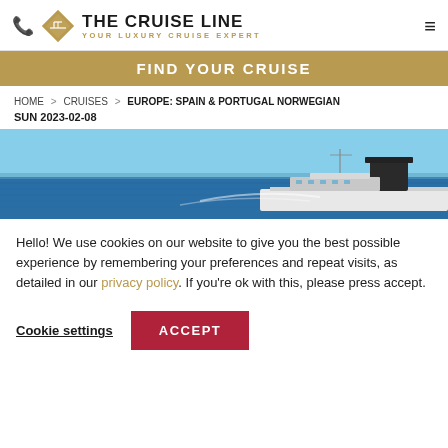THE CRUISE LINE — YOUR LUXURY CRUISE EXPERT
FIND YOUR CRUISE
HOME > CRUISES > EUROPE: SPAIN & PORTUGAL NORWEGIAN SUN 2023-02-08
[Figure (photo): Aerial view of a cruise ship on blue ocean water, showing the ship's funnel and deck against the sea.]
Hello! We use cookies on our website to give you the best possible experience by remembering your preferences and repeat visits, as detailed in our privacy policy. If you're ok with this, please press accept.
Cookie settings   ACCEPT